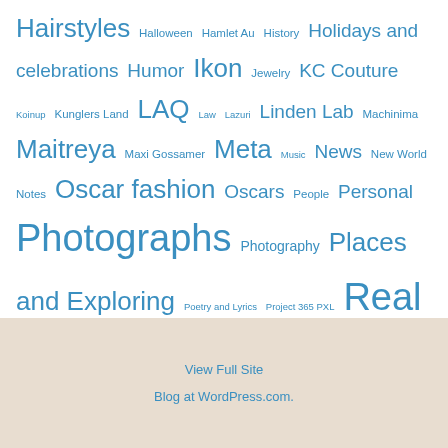Hairstyles Halloween Hamlet Au History Holidays and celebrations Humor Ikon Jewelry KC Couture Koinup Kunglers Land LAQ Law Lazuri Linden Lab Machinima Maitreya Maxi Gossamer Meta Music News New World Notes Oscar fashion Oscars People Personal Photographs Photography Places and Exploring Poetry and Lyrics Project 365 PXL Real Life Reblog Relay for Life Religion rezology Sascha's Designs Second Life SlackGirl Strawberry Singh Torley Linden Truth Hair Tukinowaguma Vanity Hair Zibska
View Full Site
Blog at WordPress.com.